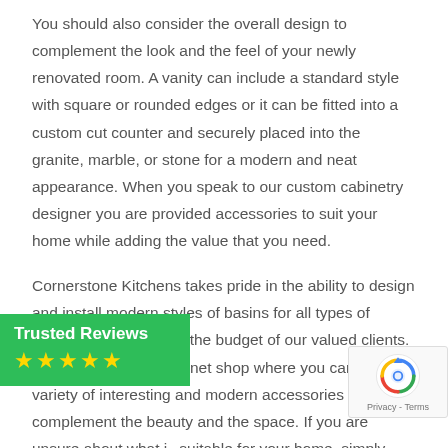You should also consider the overall design to complement the look and the feel of your newly renovated room. A vanity can include a standard style with square or rounded edges or it can be fitted into a custom cut counter and securely placed into the granite, marble, or stone for a modern and neat appearance. When you speak to our custom cabinetry designer you are provided accessories to suit your home while adding the value that you need.
Cornerstone Kitchens takes pride in the ability to design and install modern styles of basins for all types of bathrooms and across the budget of our valued clients. We offer a custom cabinet shop where you can find a variety of interesting and modern accessories to complement the beauty and the space. If you are unsure about what is suitable for your home, simply give us a call and one of our designers will help you with your choice.
[Figure (other): Trusted Reviews badge with green background showing 'Trusted Reviews' text and five yellow stars rating]
[Figure (other): reCAPTCHA widget showing the reCAPTCHA logo and 'Privacy - Terms' text]